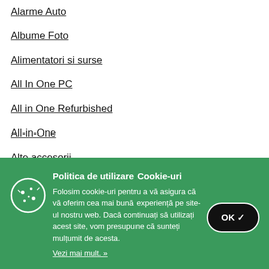Alarme Auto
Albume Foto
Alimentatori si surse
All In One PC
All in One Refurbished
All-in-One
Alte accesorii
Alte Accesorii Console
Politica de utilizare Cookie-uri
Folosim cookie-uri pentru a vă asigura că vă oferim cea mai bună experiență pe site-ul nostru web. Dacă continuați să utilizați acest site, vom presupune că sunteți mulțumit de acesta.
Vezi mai mult. »